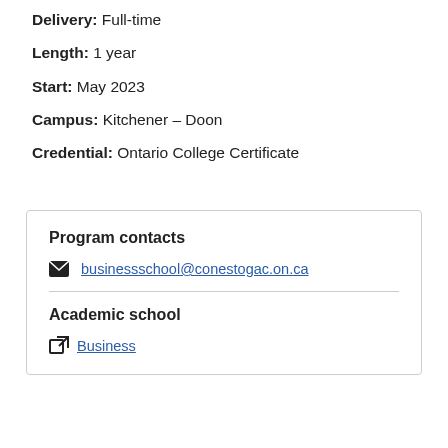Delivery: Full-time
Length: 1 year
Start: May 2023
Campus: Kitchener – Doon
Credential: Ontario College Certificate
Program contacts
businessschool@conestogac.on.ca
Academic school
Business